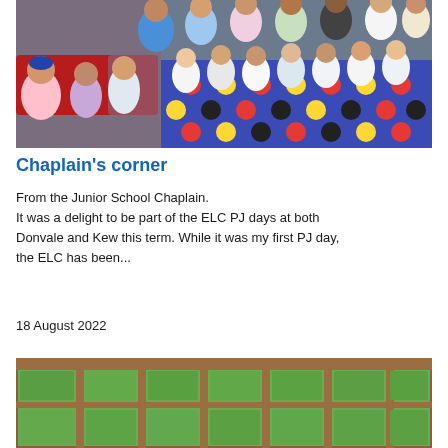[Figure (photo): Group photo of young children in pajamas sitting on a colorful spotted rug on the floor, with some adults in the background]
Chaplain's corner
From the Junior School Chaplain.
It was a delight to be part of the ELC PJ days at both Donvale and Kew this term. While it was my first PJ day, the ELC has been...
18 August 2022
[Figure (photo): Large wooden-framed windows looking out onto lush green trees]